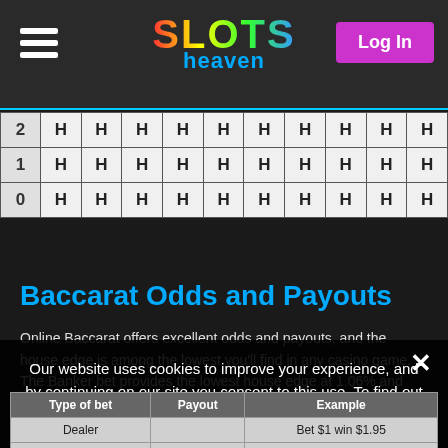Slots Heaven — Log In
|  | H | H | H | H | H | H | H | H | H | H |
| --- | --- | --- | --- | --- | --- | --- | --- | --- | --- | --- |
| 2 | H | H | H | H | H | H | H | H | H | H |
| 1 | H | H | H | H | H | H | H | H | H | H |
| 0 | H | H | H | H | H | H | H | H | H | H |
Baccarat Odds and Payouts
Online Baccarat offers excellent odds and payouts, and the house edge is among the lowest you'll find in any casino game. The Banker bet provides the lowest house edge at 1.06% and pays out 0.95:1 (due to the 5% commission). If you bet on the Player's hand, the house edge is 1.24% and pays 1:1. The Tie bet pays 8/1, but the house edge rises to 14.44%.
Our website uses cookies to improve your experience, and by continuing on our site you consent to this use. To find out more and for information on how to manage cookies, please read our Cookies Policy.
| Type of bet | Payout | Example |
| --- | --- | --- |
| Dealer | 0.95:1 | Bet $1 win $1.95 |
| Player | 1:1 | Bet $1 win $2 |